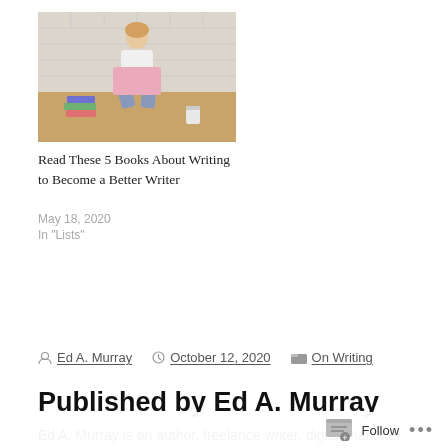[Figure (photo): Photo of a woman sitting on a wooden floor holding a pink laptop, with books stacked beside her and a white brick wall background]
Read These 5 Books About Writing to Become a Better Writer
May 18, 2020
In "Lists"
By Ed A. Murray  October 12, 2020  On Writing
Published by Ed A. Murray
Ed A. Murray is an author, freelance writer, digital marketer